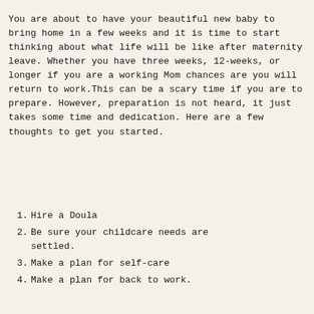You are about to have your beautiful new baby to bring home in a few weeks and it is time to start thinking about what life will be like after maternity leave. Whether you have three weeks, 12-weeks, or longer if you are a working Mom chances are you will return to work.This can be a scary time if you are to prepare. However, preparation is not heard, it just takes some time and dedication. Here are a few thoughts to get you started.
Hire a Doula
Be sure your childcare needs are settled.
Make a plan for self-care
Make a plan for back to work.